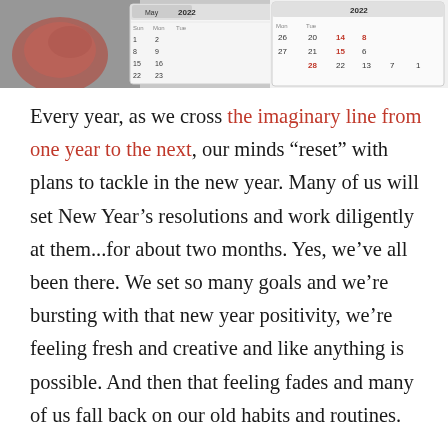[Figure (photo): Partial view of a 2022 calendar with some decorative items visible at the top of the page]
Every year, as we cross the imaginary line from one year to the next, our minds “reset” with plans to tackle in the new year. Many of us will set New Year’s resolutions and work diligently at them...for about two months. Yes, we’ve all been there. We set so many goals and we’re bursting with that new year positivity, we’re feeling fresh and creative and like anything is possible. And then that feeling fades and many of us fall back on our old habits and routines.